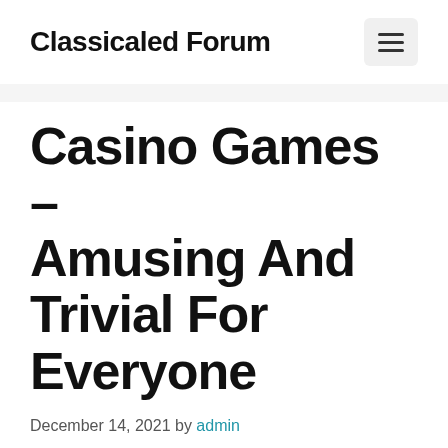Classicaled Forum
Casino Games – Amusing And Trivial For Everyone
December 14, 2021 by admin
“Risks usually over the place”. For the